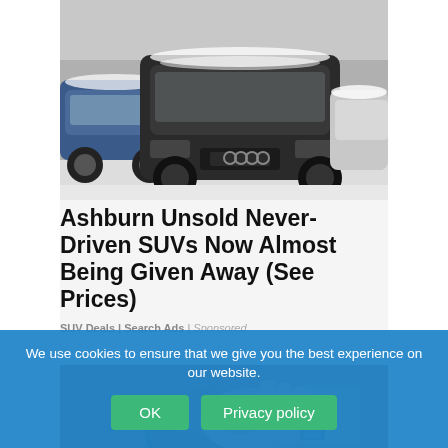[Figure (photo): Multiple SUVs covered in snow/dust parked in a lot, including a dark Audi Q7 in the foreground]
Ashburn Unsold Never-Driven SUVs Now Almost Being Given Away (See Prices)
SUV Deals | Search Ads | Sponsored
[Figure (photo): Hands shaking or clasping, partial view of a car dealership interior in background]
We use cookies to ensure that we give you the best experience on our website.
OK   Privacy policy